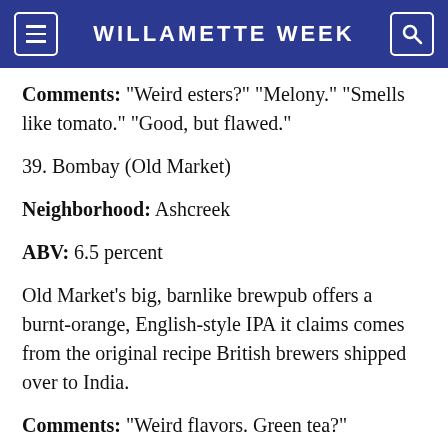WILLAMETTE WEEK
Comments: "Weird esters?" "Melony." "Smells like tomato." "Good, but flawed."
39. Bombay (Old Market)
Neighborhood: Ashcreek
ABV: 6.5 percent
Old Market's big, barnlike brewpub offers a burnt-orange, English-style IPA it claims comes from the original recipe British brewers shipped over to India.
Comments: "Weird flavors. Green tea?"